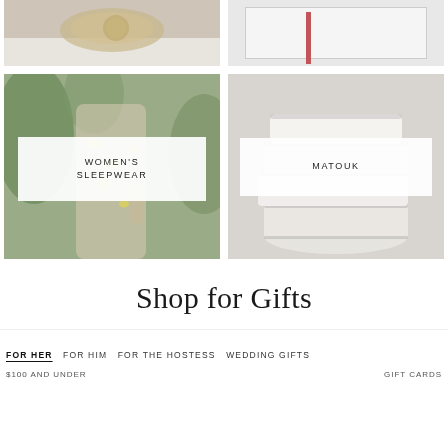[Figure (photo): Top-left: partial image of a gold rotary telephone on a light surface]
[Figure (photo): Top-right: partial image showing a pink/red vertical bar element on a white/gray background with a framed rectangle]
[Figure (photo): Middle-left: woman wearing white and yellow lemon-print pajamas/sleepwear surrounded by green plants, with overlay label WOMEN'S SLEEPWEAR]
[Figure (photo): Middle-right: stack of neatly folded white/cream towels or blankets on a gray surface, with overlay label MATOUK]
Shop for Gifts
FOR HER FOR HIM FOR THE HOSTESS WEDDING GIFTS
$100 AND UNDER   GIFT CARDS